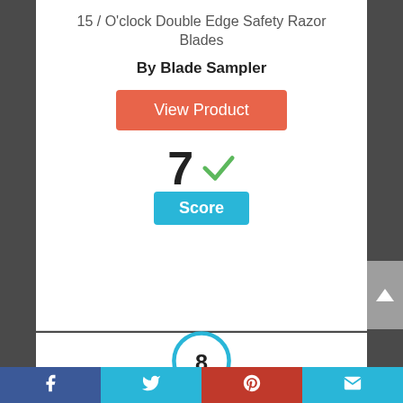15 / O'clock Double Edge Safety Razor Blades
By Blade Sampler
View Product
[Figure (infographic): Score display showing number 7 with a green checkmark and a blue 'Score' badge below]
[Figure (infographic): Blue circle with number 8 inside representing a score]
Facebook | Twitter | Pinterest | Email social sharing bar